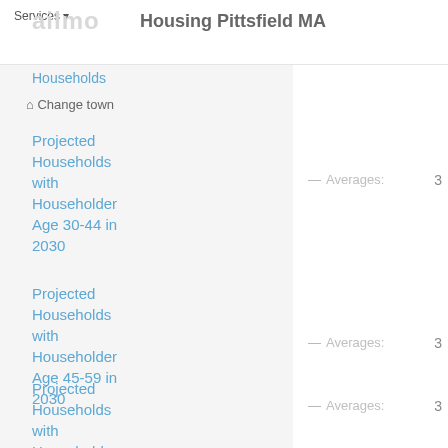Services ▾   Housing Pittsfield MA
Households
🏠 Change town
Projected Households with Householder Age 30-44 in 2030
— Averages:   3
Projected Households with Householder Age 45-59 in 2030
— Averages:   3
Projected Households with Householder Age 60-74 in
— Averages:   3